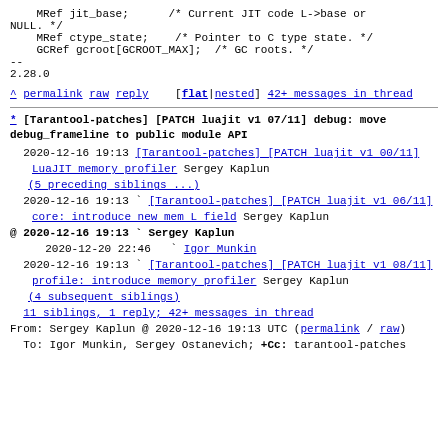MRef jit_base;      /* Current JIT code L->base or NULL. */
    MRef ctype_state;    /* Pointer to C type state. */
    GCRef gcroot[GCROOT_MAX];  /* GC roots. */
--
2.28.0
^ permalink raw reply   [flat|nested] 42+ messages in thread
* [Tarantool-patches] [PATCH luajit v1 07/11] debug: move debug_frameline to public module API
2020-12-16 19:13 [Tarantool-patches] [PATCH luajit v1 00/11] LuaJIT memory profiler Sergey Kaplun
                  ` (5 preceding siblings ...)
  2020-12-16 19:13 ` [Tarantool-patches] [PATCH luajit v1 06/11] core: introduce new mem L field Sergey Kaplun
@ 2020-12-16 19:13 ` Sergey Kaplun
  2020-12-20 22:46   ` Igor Munkin
  2020-12-16 19:13 ` [Tarantool-patches] [PATCH luajit v1 08/11] profile: introduce memory profiler Sergey Kaplun
                  ` (4 subsequent siblings)
  11 siblings, 1 reply; 42+ messages in thread
From: Sergey Kaplun @ 2020-12-16 19:13 UTC (permalink / raw)
  To: Igor Munkin, Sergey Ostanevich; +Cc: tarantool-patches